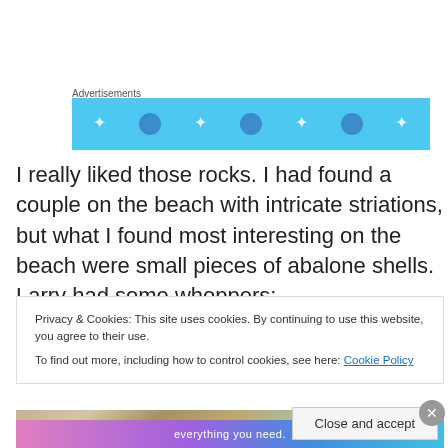Advertisements
[Figure (other): Advertisement banner with light blue background and decorative dots/circles]
I really liked those rocks. I had found a couple on the beach with intricate striations, but what I found most interesting on the beach were small pieces of abalone shells. Larry had some whoppers:
[Figure (photo): Close-up photo of abalone shells showing iridescent interior and rocky texture]
Privacy & Cookies: This site uses cookies. By continuing to use this website, you agree to their use.
To find out more, including how to control cookies, see here: Cookie Policy
Close and accept
[Figure (other): Bottom advertisement banner with gradient purple/blue colors and text 'everything you need.']